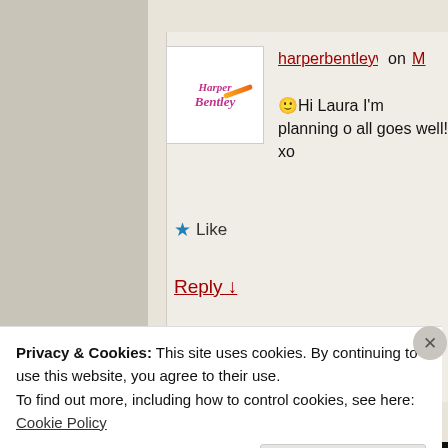[Figure (screenshot): Blog comment screenshot showing harperbentleywrites avatar and partial comment text with Like and Reply buttons, plus an Advertisements label]
harperbentleywrites on M
🙂 Hi Laura I'm planning o all goes well! xo
★ Like
Reply ↓
Advertisements
Privacy & Cookies: This site uses cookies. By continuing to use this website, you agree to their use.
To find out more, including how to control cookies, see here:
Cookie Policy
Close and accept